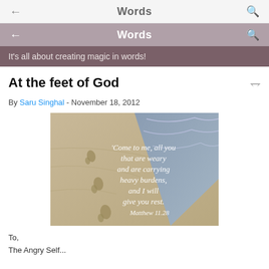Words
Words
It's all about creating magic in words!
At the feet of God
By Saru Singhal - November 18, 2012
[Figure (photo): Beach sand with footprints and ocean waves, overlaid with white italic text reading: 'Come to me, all you that are weary and are carrying heavy burdens, and I will give you rest. Matthew 11.28']
To,
The Angry Self...